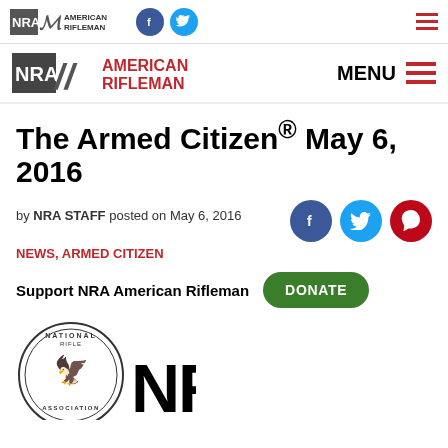NRA American Rifleman – top navigation bar with logo, Facebook and Twitter icons, and hamburger menu
[Figure (logo): NRA American Rifleman logo with Facebook and Twitter social icons and hamburger menu – secondary header bar]
The Armed Citizen® May 6, 2016
by NRA STAFF posted on May 6, 2016
NEWS, ARMED CITIZEN
Support NRA American Rifleman   DONATE
[Figure (logo): NRA National Rifle Association seal/medallion logo and large NRA text logo at bottom of page]